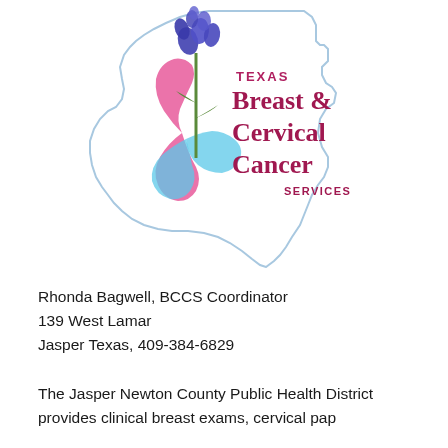[Figure (logo): Texas Breast & Cervical Cancer Services logo: outline of the state of Texas with bluebonnets and pink/blue ribbons, with text 'TEXAS Breast & Cervical Cancer SERVICES' in dark pink/maroon.]
Rhonda Bagwell, BCCS Coordinator
139 West Lamar
Jasper Texas, 409-384-6829
The Jasper Newton County Public Health District provides clinical breast exams, cervical pap